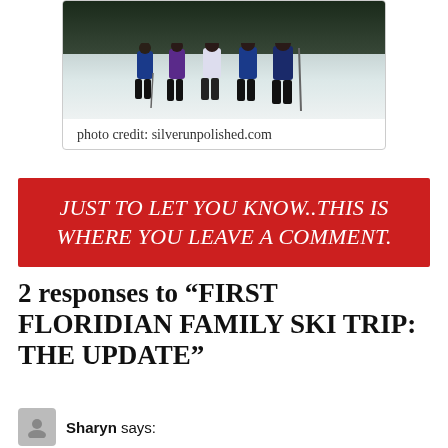[Figure (photo): Group of skiers standing on a snowy slope, dark trees in background, photo credit silverunpolished.com]
photo credit: silverunpolished.com
JUST TO LET YOU KNOW..THIS IS WHERE YOU LEAVE A COMMENT.
2 responses to “FIRST FLORIDIAN FAMILY SKI TRIP: THE UPDATE”
Sharyn says: